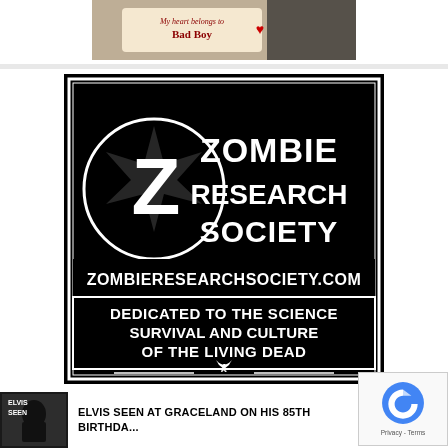[Figure (photo): Partial top image showing a sign reading 'My heart belongs to Bad Boy' with a heart, partially cropped]
[Figure (logo): Zombie Research Society logo - black square with white text and Z logo. Text reads: ZOMBIE RESEARCH SOCIETY, ZOMBIERESEARCHSOCIETY.COM, DEDICATED TO THE SCIENCE SURVIVAL AND CULTURE OF THE LIVING DEAD]
[Figure (photo): Elvis thumbnail image - dark photo with text 'ELVIS SEEN']
ELVIS SEEN AT GRACELAND ON HIS 85th BIRTHDA...